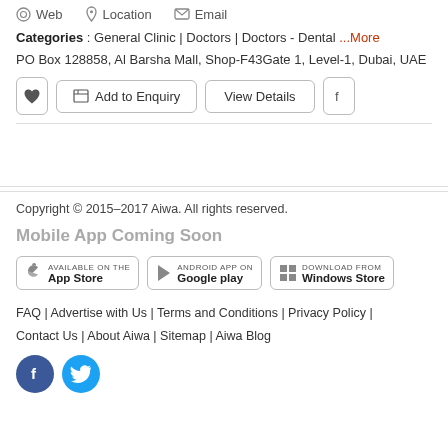Web  Location  Email
Categories : General Clinic | Doctors | Doctors - Dental ...More
PO Box 128858, Al Barsha Mall, Shop-F43Gate 1, Level-1, Dubai, UAE
[Figure (screenshot): Action buttons: heart icon, Add to Enquiry button, View Details button, Facebook icon button]
Copyright © 2015–2017 Aiwa. All rights reserved.
Mobile App Coming Soon
[Figure (screenshot): Three app store badges: Available on the App Store, Android App on Google play, Download from Windows Store]
FAQ | Advertise with Us | Terms and Conditions | Privacy Policy | Contact Us | About Aiwa | Sitemap | Aiwa Blog
[Figure (logo): Facebook and Twitter social media circular icon buttons]